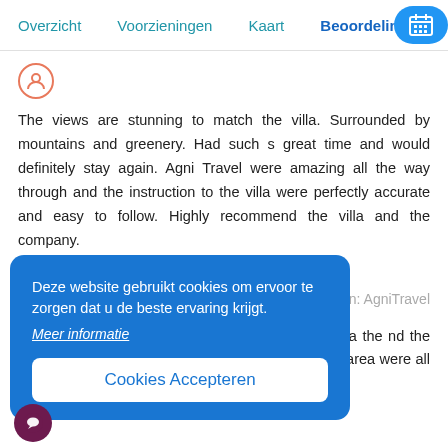Overzicht  Voorzieningen  Kaart  Beoordelingen
The views are stunning to match the villa. Surrounded by mountains and greenery. Had such s great time and would definitely stay again. Agni Travel were amazing all the way through and the instruction to the villa were perfectly accurate and easy to follow. Highly recommend the villa and the company.
Helen, Oktober   Bron: AgniTravel
Deze website gebruikt cookies om ervoor te zorgen dat u de beste ervaring krijgt. Meer informatie
Cookies Accepteren
a and also in that ood representation ce in the villa the nd the villa very e. We really liked ghts.The villa and pool area were all very clean throughout our stay. We would love